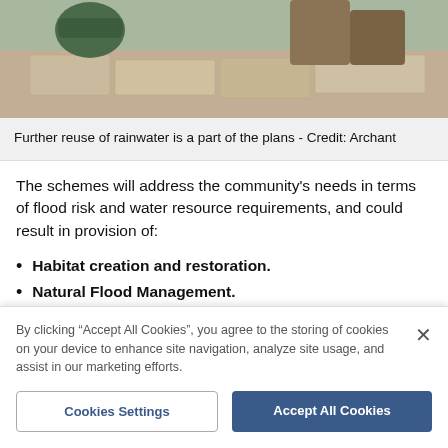[Figure (photo): Partial view of a person's feet and lower legs standing on stone paving, with what appears to be a water/gardening container nearby. Photo credited to Archant.]
Further reuse of rainwater is a part of the plans - Credit: Archant
The schemes will address the community's needs in terms of flood risk and water resource requirements, and could result in provision of:
Habitat creation and restoration.
Natural Flood Management.
Rain Gardens.
By clicking “Accept All Cookies”, you agree to the storing of cookies on your device to enhance site navigation, analyze site usage, and assist in our marketing efforts.